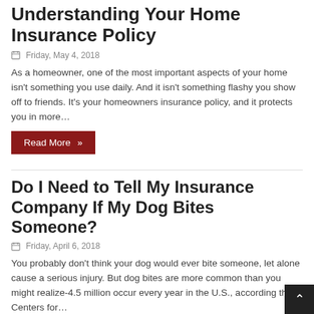Understanding Your Home Insurance Policy
Friday, May 4, 2018
As a homeowner, one of the most important aspects of your home isn't something you use daily. And it isn't something flashy you show off to friends. It's your homeowners insurance policy, and it protects you in more…
Read More »
Do I Need to Tell My Insurance Company If My Dog Bites Someone?
Friday, April 6, 2018
You probably don't think your dog would ever bite someone, let alone cause a serious injury. But dog bites are more common than you might realize-4.5 million occur every year in the U.S., according the Centers for…